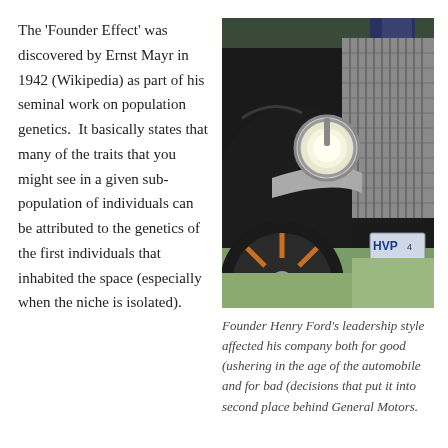The 'Founder Effect' was discovered by Ernst Mayr in 1942 (Wikipedia) as part of his seminal work on population genetics.  It basically states that many of the traits that you might see in a given sub-population of individuals can be attributed to the genetics of the first individuals that inhabited the space (especially when the niche is isolated).
[Figure (photo): Close-up photograph of the front of a vintage black automobile, showing the rounded headlight, chrome grille, wooden-spoked wheel with orange spokes, and a partial Ontario license plate reading HVP.]
Founder Henry Ford's leadership style affected his company both for good (ushering in the age of the automobile and for bad (decisions that put it into second place behind General Motors.